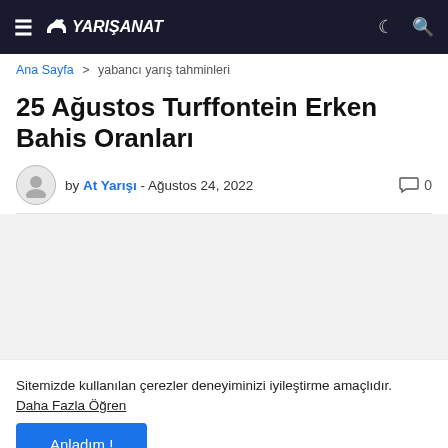≡ YARIŞANAT
Ana Sayfa > yabancı yarış tahminleri
25 Ağustos Turffontein Erken Bahis Oranları
by At Yarışı - Ağustos 24, 2022   💬 0
Sitemizde kullanılan çerezler deneyiminizi iyileştirme amaçlıdır. Daha Fazla Öğren
Anladım !